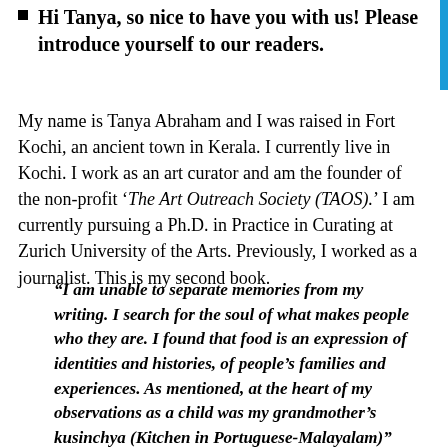Hi Tanya, so nice to have you with us! Please introduce yourself to our readers.
My name is Tanya Abraham and I was raised in Fort Kochi, an ancient town in Kerala. I currently live in Kochi. I work as an art curator and am the founder of the non-profit ‘The Art Outreach Society (TAOS).’ I am currently pursuing a Ph.D. in Practice in Curating at Zurich University of the Arts. Previously, I worked as a journalist. This is my second book.
“I am unable to separate memories from my writing. I search for the soul of what makes people who they are. I found that food is an expression of identities and histories, of people’s families and experiences. As mentioned, at the heart of my observations as a child was my grandmother’s kusinchya (Kitchen in Portuguese-Malayalam)”